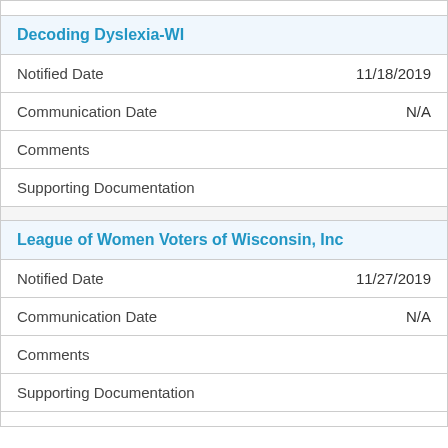| Decoding Dyslexia-WI |  |
| Notified Date | 11/18/2019 |
| Communication Date | N/A |
| Comments |  |
| Supporting Documentation |  |
| League of Women Voters of Wisconsin, Inc |  |
| Notified Date | 11/27/2019 |
| Communication Date | N/A |
| Comments |  |
| Supporting Documentation |  |